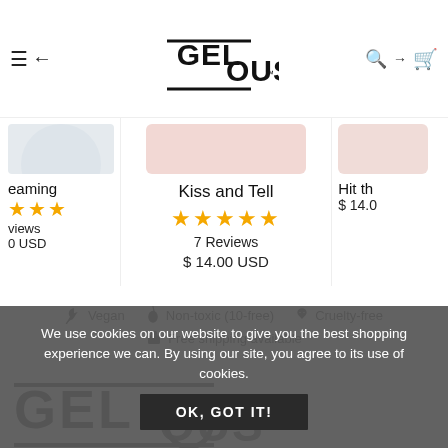GEL·OUS™ navigation header with hamburger/back and search/cart icons
eaming
★★★
views
0 USD
Kiss and Tell
★★★★★
7 Reviews
$ 14.00 USD
Hit th
$ 14.0
🍃 Vegan   💧 Non-toxic (10-free)   🐰 Cruelty-free
📦 Free shipping available
We use cookies on our website to give you the best shopping experience we can. By using our site, you agree to its use of cookies.
OK, GOT IT!
[Figure (logo): GELOUS logo in large dark text at bottom]